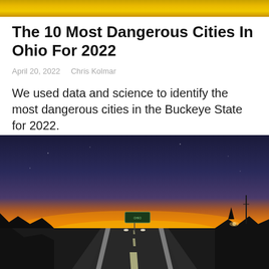[Figure (photo): Top banner image with golden/amber gradient background, likely a header image for the website]
The 10 Most Dangerous Cities In Ohio For 2022
April 20, 2022    Chris Kolmar
We used data and science to identify the most dangerous cities in the Buckeye State for 2022.
Most Dangerous Cities, Rankings    ohio
[Figure (photo): Photograph of a highway road at sunset/dusk in Ohio, with orange and dark blue sky, road signs, silhouetted trees and buildings on the sides]